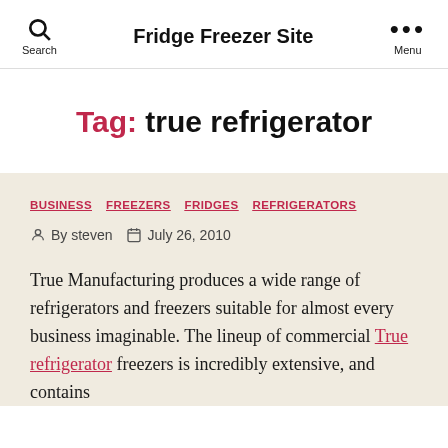Search  Fridge Freezer Site  Menu
Tag: true refrigerator
BUSINESS  FREEZERS  FRIDGES  REFRIGERATORS
By steven  July 26, 2010
True Manufacturing produces a wide range of refrigerators and freezers suitable for almost every business imaginable. The lineup of commercial True refrigerator freezers is incredibly extensive, and contains